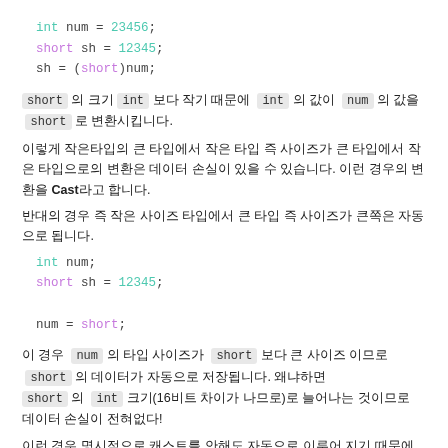int num = 23456;
short sh = 12345;
sh = (short)num;
short 의 크기 int 보다 작기 때문에  int 의 값이  num 의 값을  short 로 변환시킵니다.
이렇게 작은타입의 큰 타입에서 작은 타입 즉 사이즈가 큰 타입에서 작은 타입으로의 변환은 데이터 손실이 있을 수 있습니다. 이런 경우의 변환을 Cast라고 합니다.
반대의 경우 즉 작은 사이즈 타입에서 큰 타입 즉 사이즈가 큰쪽은 자동으로 됩니다.
int num;
short sh = 12345;

num = short;
이 경우  num 의 타입 사이즈가  short 보다 큰 사이즈 이므로  short 의 테이터가 자동으로 저장됩니다. 왜냐하면 short 의  int 크기(16비트 차이가 나므로)로 늘어나는 것이므로 데이터 손실이 전혀없다!
이런 경우 명시적으로 캐스트를 안해도 자동으로 이루어 지기 때문에 묵시적 변환이라고 한다고 합니다.